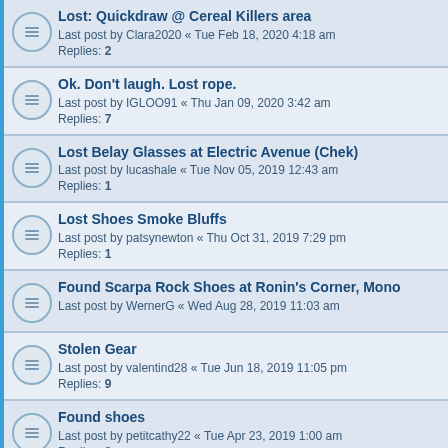Lost: Quickdraw @ Cereal Killers area
Last post by Clara2020 « Tue Feb 18, 2020 4:18 am
Replies: 2
Ok. Don't laugh. Lost rope.
Last post by IGLOO91 « Thu Jan 09, 2020 3:42 am
Replies: 7
Lost Belay Glasses at Electric Avenue (Chek)
Last post by lucashale « Tue Nov 05, 2019 12:43 am
Replies: 1
Lost Shoes Smoke Bluffs
Last post by patsynewton « Thu Oct 31, 2019 7:29 pm
Replies: 1
Found Scarpa Rock Shoes at Ronin's Corner, Mono
Last post by WernerG « Wed Aug 28, 2019 11:03 am
Stolen Gear
Last post by valentind28 « Tue Jun 18, 2019 11:05 pm
Replies: 9
Found shoes
Last post by petitcathy22 « Tue Apr 23, 2019 1:00 am
Replies: 3
How to bl...